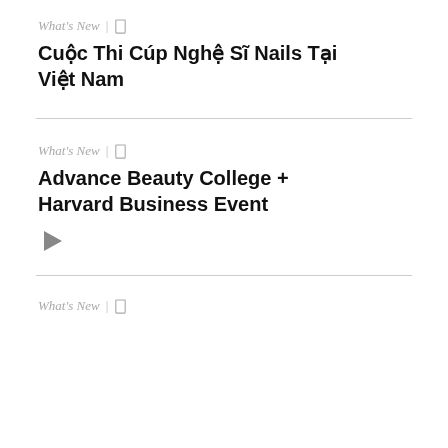What's New | [bookmark]
Cuộc Thi Cúp Nghệ Sĩ Nails Tại Việt Nam
What's New | [bookmark]
Advance Beauty College + Harvard Business Event
[Figure (other): Play button triangle icon]
What's New | [bookmark]